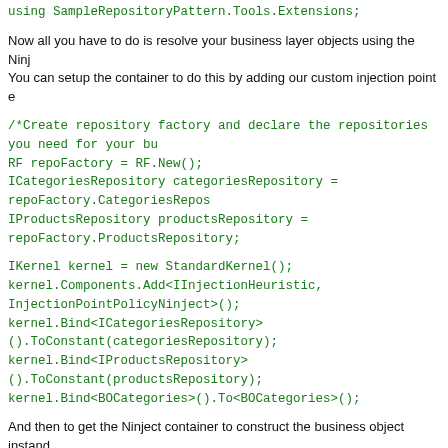using SampleRepositoryPattern.Tools.Extensions;
Now all you have to do is resolve your business layer objects using the Ninject container. You can setup the container to do this by adding our custom injection point e
/*Create repository factory and declare the repositories you need for your bu
RF repoFactory = RF.New();
ICategoriesRepository categoriesRepository = repoFactory.CategoriesRepos
IProductsRepository productsRepository = repoFactory.ProductsRepository;
IKernel kernel = new StandardKernel();
kernel.Components.Add<IInjectionHeuristic, InjectionPointPolicyNinject>();
kernel.Bind<ICategoriesRepository>().ToConstant(categoriesRepository);
kernel.Bind<IProductsRepository>().ToConstant(productsRepository);
kernel.Bind<BOCategories>().To<BOCategories>();
And then to get the Ninject container to construct the business object instand
BOCategories boCategory = kernel.Get<BOCategories>();
As you can see, we dont explicitly create the CategoriesRepository or assign and injected into the boCategories object, because CodeTrigger has automa at specific points. This attribute has been designed to be agnostic so it is rec Unity container, so you can swap the container implementation without chan
The code listing below shows a complete test definition called create_update and which creates, updates, and deletes a test category object using a repository implementation that has bee And thats it, you have successfully created and unit tested using the Ninject c Injection based application, using CodeTrigger
We have used the Ninject container to instantiate our objects and inject o